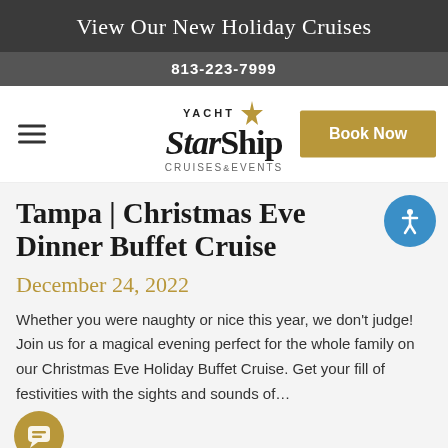View Our New Holiday Cruises
813-223-7999
[Figure (logo): Yacht StarShip Cruises & Events logo with star graphic]
Tampa | Christmas Eve Dinner Buffet Cruise
December 24, 2022
Whether you were naughty or nice this year, we don't judge! Join us for a magical evening perfect for the whole family on our Christmas Eve Holiday Buffet Cruise. Get your fill of festivities with the sights and sounds of...